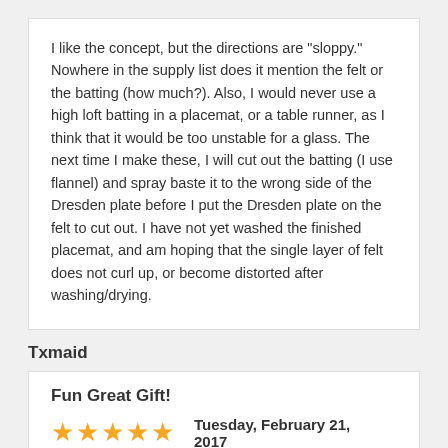I like the concept, but the directions are "sloppy." Nowhere in the supply list does it mention the felt or the batting (how much?). Also, I would never use a high loft batting in a placemat, or a table runner, as I think that it would be too unstable for a glass. The next time I make these, I will cut out the batting (I use flannel) and spray baste it to the wrong side of the Dresden plate before I put the Dresden plate on the felt to cut out. I have not yet washed the finished placemat, and am hoping that the single layer of felt does not curl up, or become distorted after washing/drying.
Txmaid
Fun Great Gift!
Tuesday, February 21, 2017
MargieARK